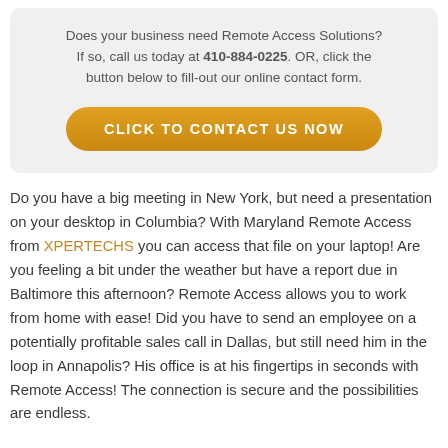Does your business need Remote Access Solutions? If so, call us today at 410-884-0225. OR, click the button below to fill-out our online contact form.
[Figure (other): Orange rounded button with white uppercase text: CLICK TO CONTACT US NOW]
Do you have a big meeting in New York, but need a presentation on your desktop in Columbia? With Maryland Remote Access from XPERTECHS you can access that file on your laptop! Are you feeling a bit under the weather but have a report due in Baltimore this afternoon? Remote Access allows you to work from home with ease! Did you have to send an employee on a potentially profitable sales call in Dallas, but still need him in the loop in Annapolis? His office is at his fingertips in seconds with Remote Access! The connection is secure and the possibilities are endless.